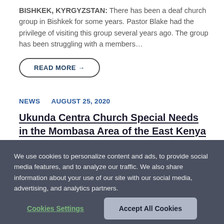BISHKEK, KYRGYZSTAN: There has been a deaf church group in Bishkek for some years. Pastor Blake had the privilege of visiting this group several years ago. The group has been struggling with a members…
READ MORE →
NEWS   AUGUST 25, 2020
Ukunda Centra Church Special Needs in the Mombasa Area of the East Kenya
We use cookies to personalize content and ads, to provide social media features, and to analyze our traffic. We also share information about your use of our site with our social media, advertising, and analytics partners.
Cookies Settings
Accept All Cookies